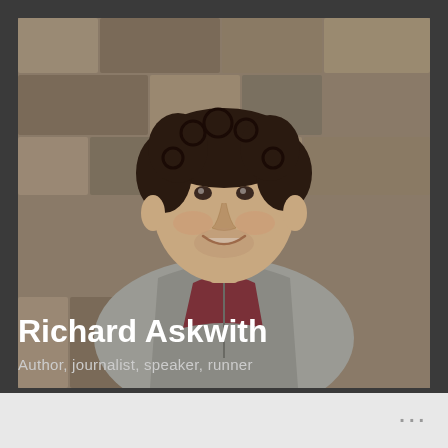[Figure (photo): Portrait photo of Richard Askwith, a man with curly dark hair, smiling, wearing a grey fleece jacket over a dark red/maroon polo shirt, standing in front of a stone wall background.]
Richard Askwith
Author, journalist, speaker, runner